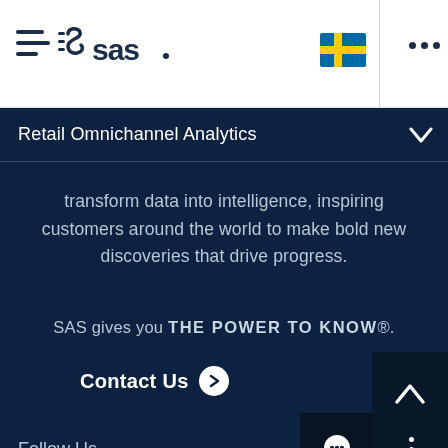[Figure (logo): SAS logo with hamburger menu icon on white header bar]
Retail Omnichannel Analytics
transform data into intelligence, inspiring customers around the world to make bold new discoveries that drive progress.
SAS gives you THE POWER TO KNOW®.
Contact Us
Follow Us